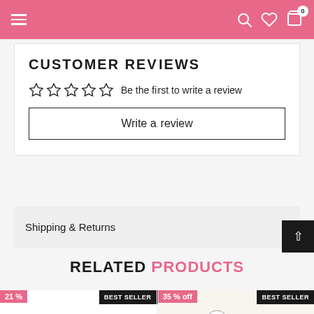Navigation header with hamburger menu, search, wishlist, and cart icons
CUSTOMER REVIEWS
☆☆☆☆☆ Be the first to write a review
Write a review
Shipping & Returns
RELATED PRODUCTS
[Figure (screenshot): Two product cards: first shows 21% off badge and BEST SELLER label with a black ring and dropper bottle; second shows 35% off badge and BEST SELLER label with an Aztec Healing Clay container]